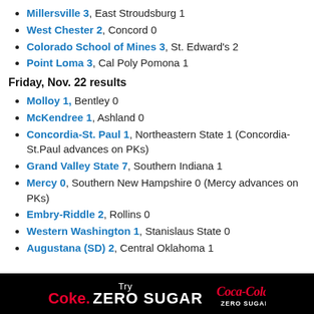Millersville 3, East Stroudsburg 1
West Chester 2, Concord 0
Colorado School of Mines 3, St. Edward's 2
Point Loma 3, Cal Poly Pomona 1
Friday, Nov. 22 results
Molloy 1, Bentley 0
McKendree 1, Ashland 0
Concordia-St. Paul 1, Northeastern State 1 (Concordia-St.Paul advances on PKs)
Grand Valley State 7, Southern Indiana 1
Mercy 0, Southern New Hampshire 0 (Mercy advances on PKs)
Embry-Riddle 2, Rollins 0
Western Washington 1, Stanislaus State 0
Augustana (SD) 2, Central Oklahoma 1
[Figure (other): Coca-Cola Zero Sugar advertisement banner with black background, red Coke Zero Sugar text and Coca-Cola logo]